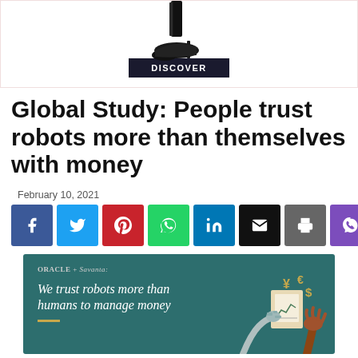[Figure (photo): Advertisement banner showing high heel shoe legs with a dark 'DISCOVER' button below]
Global Study: People trust robots more than themselves with money
February 10, 2021
[Figure (infographic): Social media share buttons row: Facebook (blue), Twitter (light blue), Pinterest (red), WhatsApp (green), LinkedIn (blue), Email (black), Print (gray), Viber (purple)]
[Figure (illustration): Oracle + Savanta study image on teal background with robot hand and currency symbols, text: We trust robots more than humans to manage money]